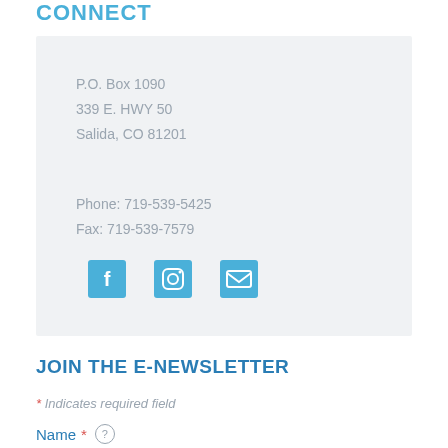CONNECT
P.O. Box 1090
339 E. HWY 50
Salida, CO 81201

Phone: 719-539-5425
Fax: 719-539-7579
[Figure (other): Social media icons: Facebook, Instagram, Email]
JOIN THE E-NEWSLETTER
* Indicates required field
Name * (help icon)